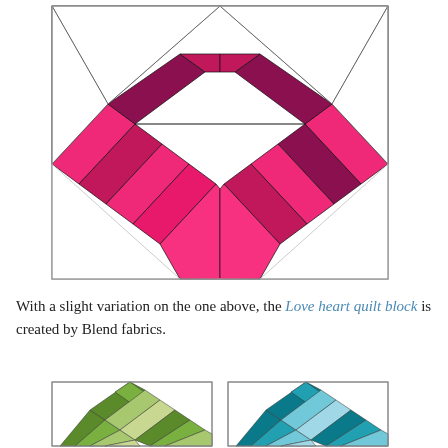[Figure (illustration): A quilt block pattern in the shape of a heart made of diagonal fabric strips in shades of hot pink, magenta, and dark purple/maroon, set within a square outline with diagonal corner triangles forming the heart shape.]
With a slight variation on the one above, the Love heart quilt block is created by Blend fabrics.
[Figure (illustration): Two small quilt block images side by side: left shows green and light green diagonal chevron/mountain pattern; right shows teal/blue and light blue diagonal chevron/mountain pattern.]